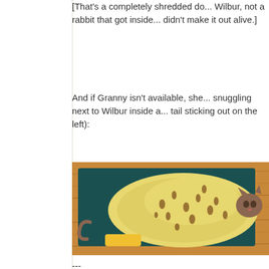[That's a completely shredded do... Wilbur, not a rabbit that got inside... didn't make it out alive.]
And if Granny isn't available, she... snuggling next to Wilbur inside a... tail sticking out on the left):
[Figure (photo): A cat or small animal bundled inside a yellow fabric with horse/equestrian print, resting on a teal/dark colored mat on a wooden floor. A tail is visible sticking out on the left side.]
---